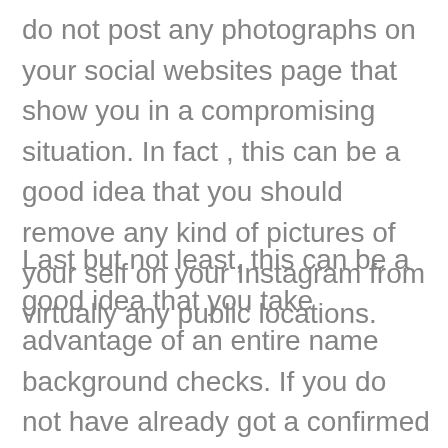do not post any photographs on your social websites page that show you in a compromising situation. In fact , this can be a good idea that you should remove any kind of pictures of your self on your Instagram from virtually any public locations.
Last but not least, this can be a good idea that you take advantage of an entire name background checks. If you do not have already got a confirmed full name, it is a great idea to do so. This will likely aid to ensure that you obtaining into virtually any situations that could get you into trouble together with the